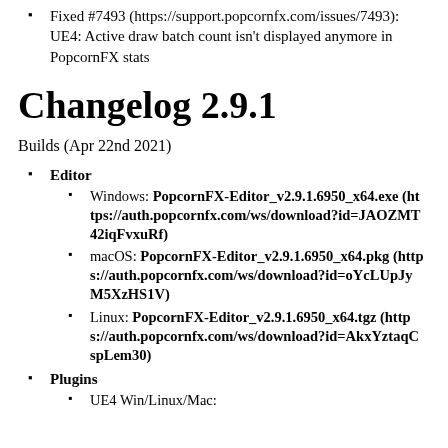Fixed #7493 (https://support.popcornfx.com/issues/7493): UE4: Active draw batch count isn't displayed anymore in PopcornFX stats
Changelog 2.9.1
Builds (Apr 22nd 2021)
Editor
Windows: PopcornFX-Editor_v2.9.1.6950_x64.exe (https://auth.popcornfx.com/ws/download?id=JAOZMT42iqFvxuRf)
macOS: PopcornFX-Editor_v2.9.1.6950_x64.pkg (https://auth.popcornfx.com/ws/download?id=oYcLUpJyM5XzHS1V)
Linux: PopcornFX-Editor_v2.9.1.6950_x64.tgz (https://auth.popcornfx.com/ws/download?id=AkxYztaqCspLem30)
Plugins
UE4 Win/Linux/Mac: